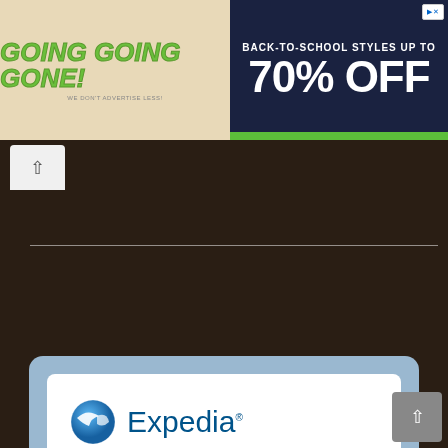[Figure (screenshot): Going Going Gone! advertisement banner with green italic bold text on beige background]
[Figure (screenshot): Back-to-school styles up to 70% OFF advertisement on dark navy background with green stripe]
[Figure (screenshot): Expedia Hotels in Pigeon Forge, TN booking widget with logo, search field, and Book with Expedia button]